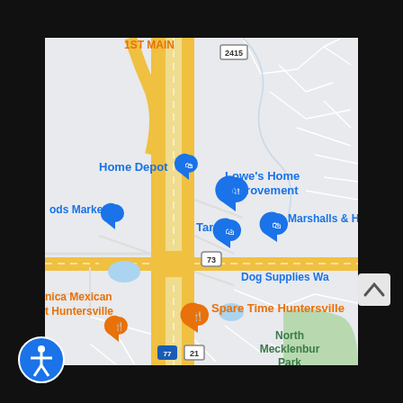[Figure (map): Google Maps screenshot showing Huntersville, NC area with stores including Home Depot, Lowe's Home Improvement, Target, Marshalls & HomeGoods, Dog Supplies warehouse, Spare Time Huntersville, and North Mecklenburg Park. Major roads including I-77, Route 21, Route 73, and Route 2415 are visible. Yellow roads indicate major highways running north-south with an intersection.]